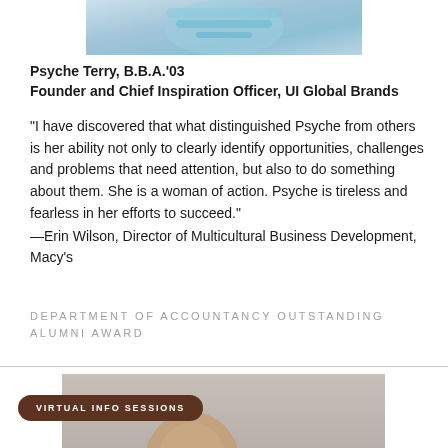[Figure (photo): Partial photo of a person wearing a white garment with teal/blue decorative elements, cropped at top of page]
Psyche Terry, B.B.A.'03
Founder and Chief Inspiration Officer, UI Global Brands
“I have discovered that what distinguished Psyche from others is her ability not only to clearly identify opportunities, challenges and problems that need attention, but also to do something about them. She is a woman of action. Psyche is tireless and fearless in her efforts to succeed.”
—Erin Wilson, Director of Multicultural Business Development, Macy’s
DEPARTMENT OF ACCOUNTANCY OUTSTANDING ALUMNI AWARD
[Figure (photo): Partial photo at bottom of page showing a person's hand/finger, with a dark brown pill-shaped button overlay reading VIRTUAL INFO SESSIONS]